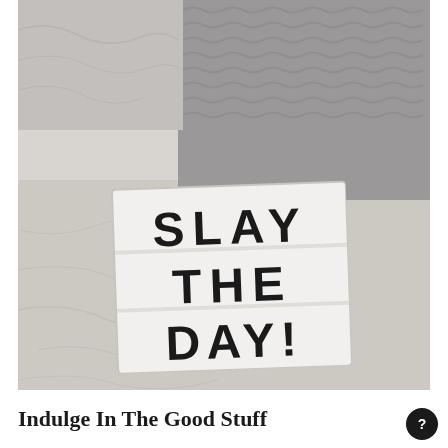[Figure (photo): Black and white photo of a lightbox sign reading 'SLAY THE DAY!' placed on rumpled white fabric/sheets with a grey knit blanket or sweater visible in the background.]
Indulge In The Good Stuff